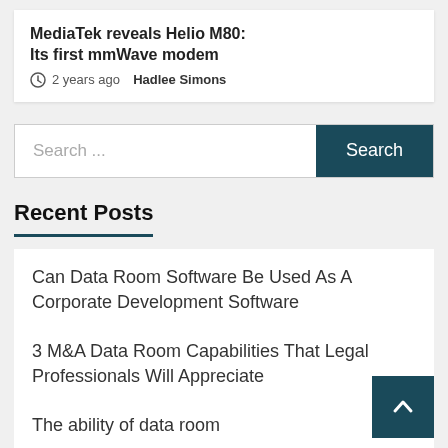MediaTek reveals Helio M80: Its first mmWave modem
2 years ago  Hadlee Simons
Search ...
Recent Posts
Can Data Room Software Be Used As A Corporate Development Software
3 M&A Data Room Capabilities That Legal Professionals Will Appreciate
The ability of data room
Why Do You Need Automated Data Room Services Business?